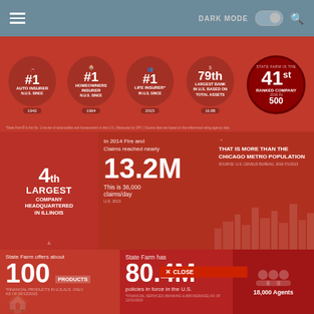DARK MODE  [toggle]  [search]
[Figure (infographic): State Farm rankings: #1 Auto Insurer in U.S. since 1942, #1 Homeowners Insurer in U.S. since 1964, #1 Life Insurer in U.S. since 2015, 79th Largest Bank in U.S. based on total assets 16.8B, 41st Ranked Company in Fortune 500]
[Figure (infographic): 4th Largest Company Headquartered in Illinois. In 2014 Fire and Claims reached nearly 13.2M. This is 36,000 claims/day. That is more than the Chicago Metro Population.]
State Farm offers about 100 PRODUCTS
State Farm has 80.4M policies in force in the U.S.
18,000 Agents
MUTUAL FUNDS 496K
HEALTH 883K
BANK 1.9M
LIFE 7.8M
HOMEOWNERS 27.4M
AUTO
68,000 Agent Team Members
65,000+ Employees
ALMOST 40% OF STATE FARM HOUSEHOLDS HAVE MORE THAN ONE PRODUCT
STATE FARM HAS MORE AGENT LOCATIONS THAN MCDONALDS STARBUCKS